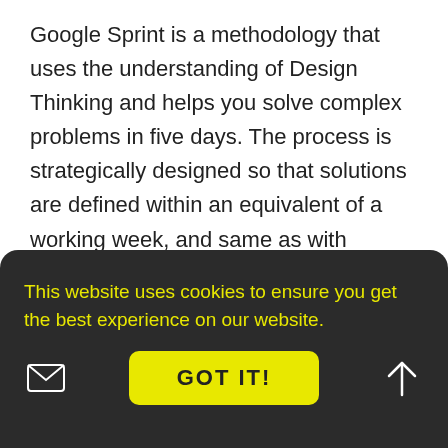Google Sprint is a methodology that uses the understanding of Design Thinking and helps you solve complex problems in five days. The process is strategically designed so that solutions are defined within an equivalent of a working week, and same as with Design Thinking saving money and time.
Join this workshop to learn another design methodology that you can implement in your daily projects.
This website uses cookies to ensure you get the best experience on our website.
GOT IT!